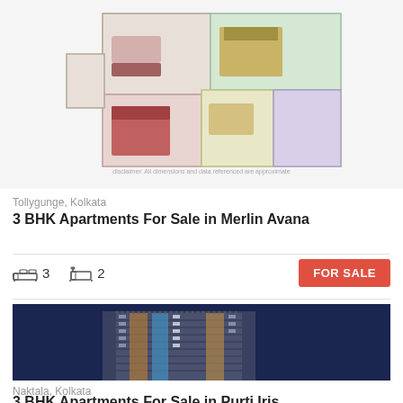[Figure (illustration): 3D floor plan rendering of a 3 BHK apartment showing rooms layout with colored furniture]
Tollygunge, Kolkata
3 BHK Apartments For Sale in Merlin Avana
3 bedrooms, 2 bathrooms, FOR SALE
[Figure (photo): Night-time exterior photo of a multi-storey residential apartment building with illuminated facade]
Naktala, Kolkata
3 BHK Apartments For Sale in Purti Iris